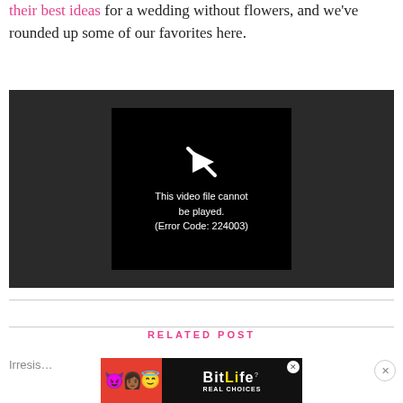their best ideas for a wedding without flowers, and we've rounded up some of our favorites here.
[Figure (screenshot): Video player showing error: 'This video file cannot be played. (Error Code: 224003)' with a crossed-out play icon on dark background]
RELATED POST
Irresis... y Out
[Figure (screenshot): BitLife advertisement banner with cartoon emojis on red background, text 'BitLife REAL CHOICES']